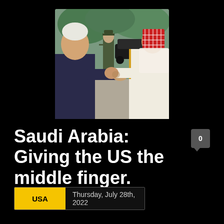[Figure (photo): Two men fist-bumping outdoors. On the left, an older man in a dark suit. On the right, a man in traditional white Saudi Arabian robes and red-checkered keffiyeh. A military officer in uniform stands in the background saluting, with a black car and green foliage visible.]
Saudi Arabia: Giving the US the middle finger.
0
USA  Thursday, July 28th, 2022